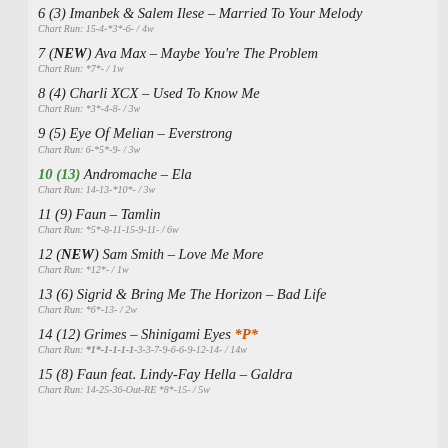6 (3) Imanbek & Salem Ilese – Married To Your Melody
Chart Run: 15-4-*3*-6- / 4w
7 (NEW) Ava Max – Maybe You're The Problem
Chart Run: *7*- / 1w
8 (4) Charli XCX – Used To Know Me
Chart Run: *3*-4-8- / 3w
9 (5) Eye Of Melian – Everstrong
Chart Run: 6-*5*-9- / 3w
10 (13) Andromache – Ela
Chart Run: 14-13-*10*- / 3w
11 (9) Faun – Tamlin
Chart Run: *5*-8-11-15-9-11- / 6w
12 (NEW) Sam Smith – Love Me More
Chart Run: *12*- / 1w
13 (6) Sigrid & Bring Me The Horizon – Bad Life
Chart Run: *6*-13- / 2w
14 (12) Grimes – Shinigami Eyes *P*
Chart Run: *1*-1-1-1-1-3-3-7-9-6-6-9-12-14- / 14w
15 (8) Faun feat. Lindy-Fay Hella – Galdra
Chart Run: 14-25-36-Out-RE *8*-15- / 5w